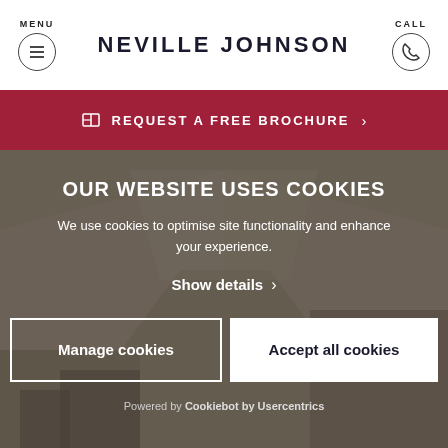MENU | NEVILLE JOHNSON | CALL
REQUEST A FREE BROCHURE >
OUR WEBSITE USES COOKIES
We use cookies to optimise site functionality and enhance your experience.
Show details >
Manage cookies
Accept all cookies
Powered by Cookiebot by Usercentrics